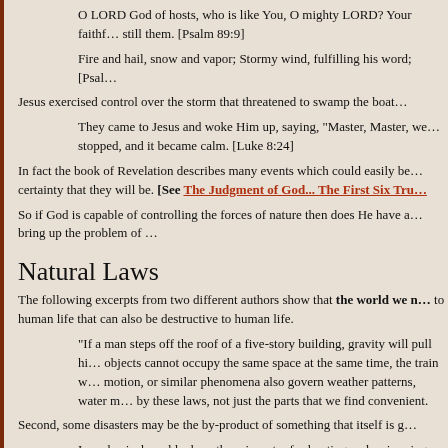O LORD God of hosts, who is like You, O mighty LORD? Your faithf... still them. [Psalm 89:9]
Fire and hail, snow and vapor; Stormy wind, fulfilling his word; [Psal...
Jesus exercised control over the storm that threatened to swamp the boat...
They came to Jesus and woke Him up, saying, "Master, Master, we... stopped, and it became calm. [Luke 8:24]
In fact the book of Revelation describes many events which could easily be... certainty that they will be. [See The Judgment of God... The First Six Tru...
So if God is capable of controlling the forces of nature then does He have a... bring up the problem of …
Natural Laws
The following excerpts from two different authors show that the world we n... to human life that can also be destructive to human life.
“If a man steps off the roof of a five-story building, gravity will pull hi... objects cannot occupy the same space at the same time, the train w... motion, or similar phenomena also govern weather patterns, water m... by these laws, not just the parts that we find convenient.
Second, some disasters may be the by-product of something that itself is g...
In a physical world where there is water for boating and swimming, s... which one may fall. If there are cars to drive, collisions can also occ...